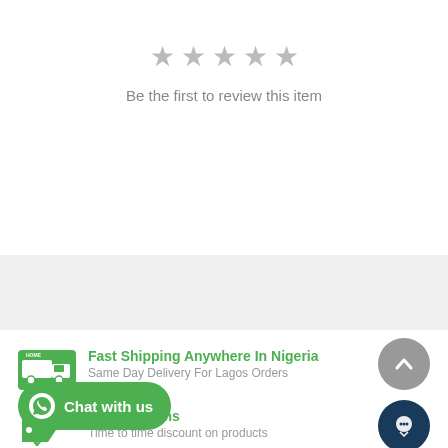[Figure (other): Five empty gray star rating icons]
Be the first to review this item
[Figure (other): Gray horizontal band separator]
[Figure (illustration): Home delivery truck icon with green background]
Fast Shipping Anywhere In Nigeria
Same Day Delivery For Lagos Orders
[Figure (illustration): Green coupon/tag icon]
And Coupons
Time to time discount on products
[Figure (other): WhatsApp Chat with us green button]
[Figure (other): Gray circle scroll-to-top button with upward chevron]
[Figure (other): Dark blue circle chat bubble button]